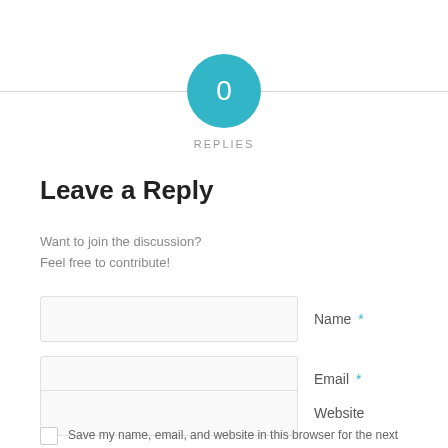[Figure (other): Teal circular badge with number 0 and horizontal divider lines on either side]
REPLIES
Leave a Reply
Want to join the discussion?
Feel free to contribute!
Name *
Email *
Website
Save my name, email, and website in this browser for the next